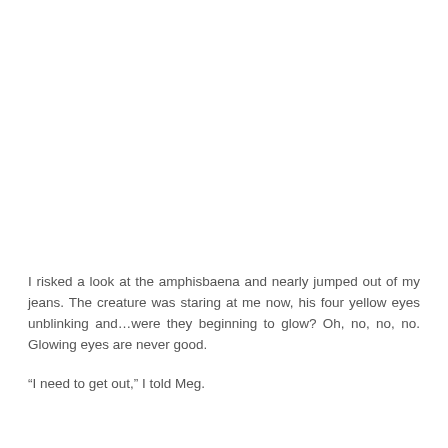I risked a look at the amphisbaena and nearly jumped out of my jeans. The creature was staring at me now, his four yellow eyes unblinking and…were they beginning to glow? Oh, no, no, no. Glowing eyes are never good.
“I need to get out,” I told Meg.